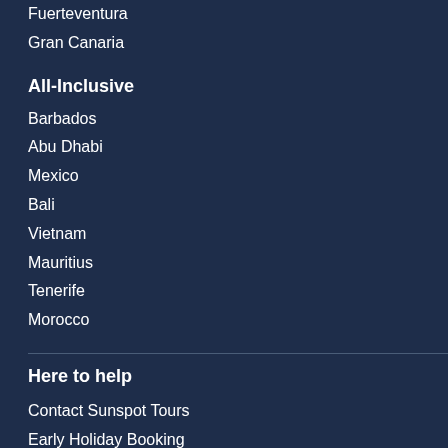Fuerteventura
Gran Canaria
All-Inclusive
Barbados
Abu Dhabi
Mexico
Bali
Vietnam
Mauritius
Tenerife
Morocco
Here to help
Contact Sunspot Tours
Early Holiday Booking
Frequently Asked Questions
How to Book